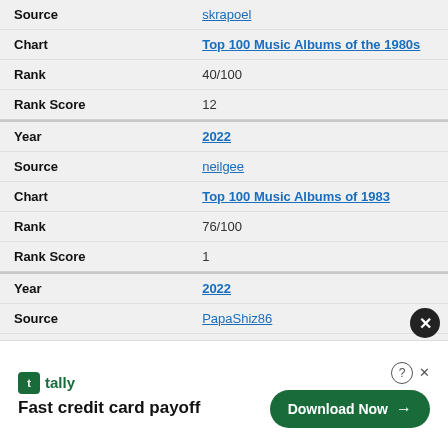| Field | Value |
| --- | --- |
| Source | skrapoel |
| Chart | Top 100 Music Albums of the 1980s |
| Rank | 40/100 |
| Rank Score | 12 |
| Field | Value |
| --- | --- |
| Year | 2022 |
| Source | neilgee |
| Chart | Top 100 Music Albums of 1983 |
| Rank | 76/100 |
| Rank Score | 1 |
| Field | Value |
| --- | --- |
| Year | 2022 |
| Source | PapaShiz86 |
| Chart | Top 30 Music Albums of 1983 |
[Figure (other): Advertisement banner for Tally app: 'Fast credit card payoff' with a Download Now button]